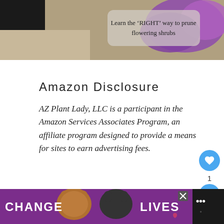[Figure (photo): Outdoor garden scene with gravel, flowering purple shrubs, and an overlay box reading: Learn the 'RIGHT' way to prune flowering shrubs]
Amazon Disclosure
AZ Plant Lady, LLC is a participant in the Amazon Services Associates Program, an affiliate program designed to provide a means for sites to earn advertising fees.
Privacy & Policy, Disclaimer & Disclosure
[Figure (screenshot): Bottom advertisement banner: CHANGE LIVES with cat photos on dark/purple background]